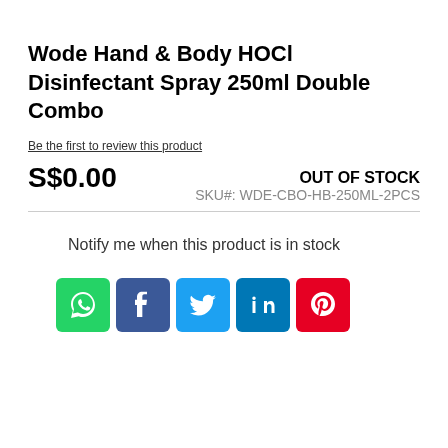Wode Hand & Body HOCl Disinfectant Spray 250ml Double Combo
Be the first to review this product
S$0.00
OUT OF STOCK
SKU#:  WDE-CBO-HB-250ML-2PCS
Notify me when this product is in stock
[Figure (infographic): Social media share icons: WhatsApp (green), Facebook (blue), Twitter (light blue), LinkedIn (dark blue), Pinterest (red)]